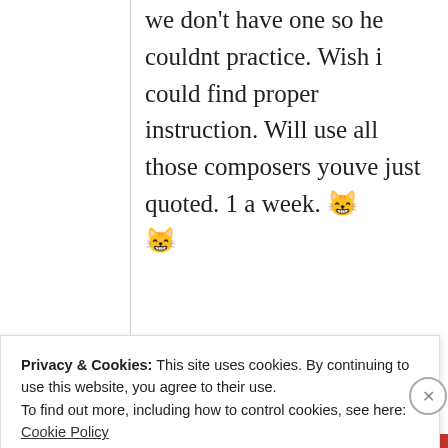we don't have one so he couldnt practice. Wish i could find proper instruction. Will use all those composers youve just quoted. 1 a week. 😸 😸
★ Liked by 1 person
↪ Reply
Privacy & Cookies: This site uses cookies. By continuing to use this website, you agree to their use. To find out more, including how to control cookies, see here: Cookie Policy
Close and accept